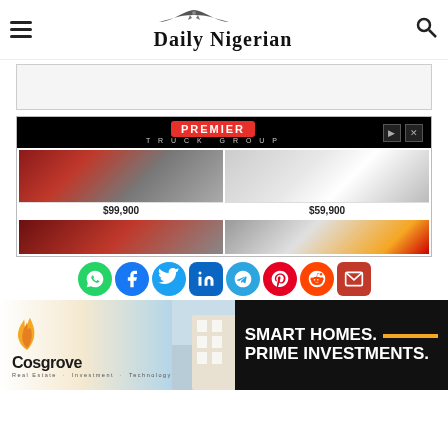Daily Nigerian
[Figure (screenshot): Gray advertisement placeholder box at the top]
[Figure (screenshot): Premier Truck Group advertisement banner showing trucks for sale: red truck $99,900, white truck $59,900, and two more trucks below]
[Figure (infographic): Row of social media sharing icons: WhatsApp, Facebook, Twitter, LinkedIn, Telegram, Pinterest, Reddit, Email]
[Figure (screenshot): Cosgrove Real Estate advertisement: Smart Homes. Prime Investments. with building photo and gold flame logo]